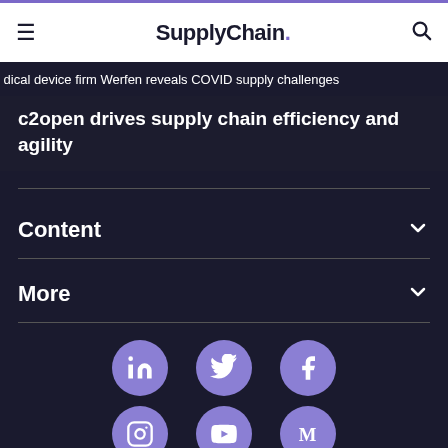SupplyChain.
dical device firm Werfen reveals COVID supply challenges
c2open drives supply chain efficiency and agility
Content
More
[Figure (infographic): Social media icon circles for LinkedIn, Twitter, Facebook, Instagram, YouTube, Medium on dark background]